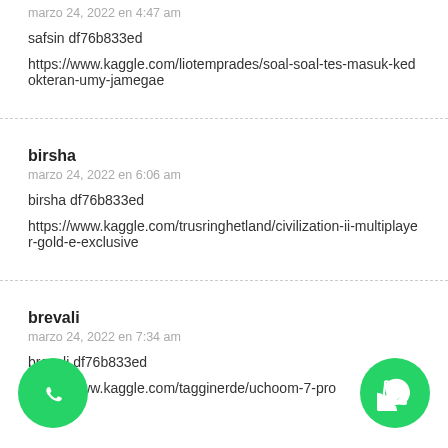marzo 24, 2022 en 4:47 am
safsin df76b833ed
https://www.kaggle.com/liotemprades/soal-soal-tes-masuk-kedokteran-umy-jamegae
birsha
marzo 24, 2022 en 6:06 am
birsha df76b833ed
https://www.kaggle.com/trusringhetland/civilization-ii-multiplayer-gold-e-exclusive
brevali
marzo 24, 2022 en 7:34 am
brevali df76b833ed
https://www.kaggle.com/tagginerde/uchoom-7-pro